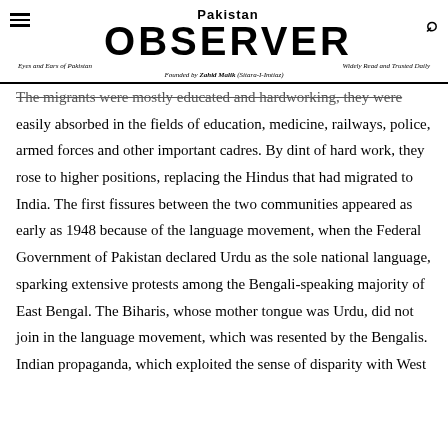Pakistan OBSERVER — Eyes and Ears of Pakistan | Widely Read and Trusted Daily | Founded by Zahid Malik (Sitara-I-Imtiaz)
The migrants were mostly educated and hardworking, they were easily absorbed in the fields of education, medicine, railways, police, armed forces and other important cadres. By dint of hard work, they rose to higher positions, replacing the Hindus that had migrated to India. The first fissures between the two communities appeared as early as 1948 because of the language movement, when the Federal Government of Pakistan declared Urdu as the sole national language, sparking extensive protests among the Bengali-speaking majority of East Bengal. The Biharis, whose mother tongue was Urdu, did not join in the language movement, which was resented by the Bengalis. Indian propaganda, which exploited the sense of disparity with West Pakistan and deprivation felt by the Bengalis, also alienated the Biharis. The Bengalis became resentful of the relative progress of the Biharis in various government slots. Fast forward